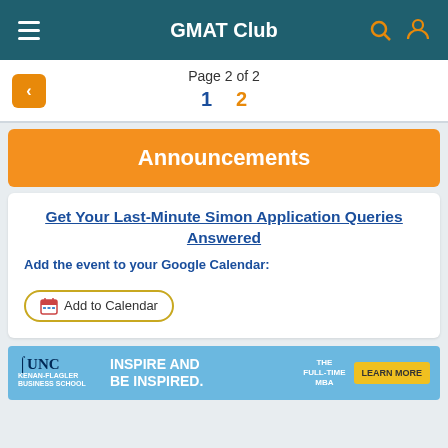GMAT Club
Page 2 of 2
Announcements
Get Your Last-Minute Simon Application Queries Answered
Add the event to your Google Calendar:
[Figure (screenshot): Add to Calendar button with calendar icon]
[Figure (infographic): UNC Kenan-Flagler Business School banner: INSPIRE AND BE INSPIRED. THE FULL-TIME MBA. LEARN MORE button.]